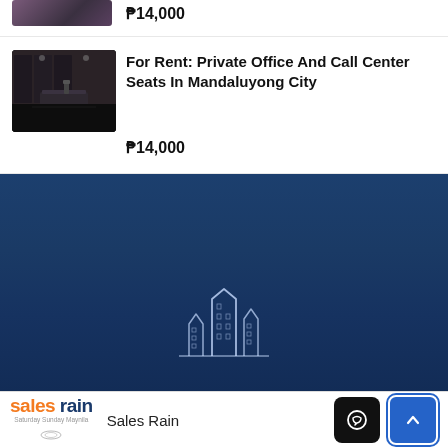[Figure (photo): Partial view of office/lobby image thumbnail at top]
₱14,000
[Figure (photo): Photo of office reception/lobby interior with dark walls and modern desk]
For Rent: Private Office And Call Center Seats In Mandaluyong City
₱14,000
[Figure (illustration): Dark blue footer background with white line-art city/buildings logo in center]
Sales Rain